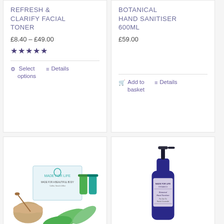REFRESH & CLARIFY FACIAL TONER
£8.40 – £49.00
★★★★★
Select options   Details
BOTANICAL HAND SANITISER 600ML
£59.00
Add to basket   Details
[Figure (photo): Made For Life product set with green bottles, a jar of scrub, and green leaves on white background]
[Figure (photo): Made For Life Organics Botanical Hand Sanitiser in a dark blue glass spray bottle]